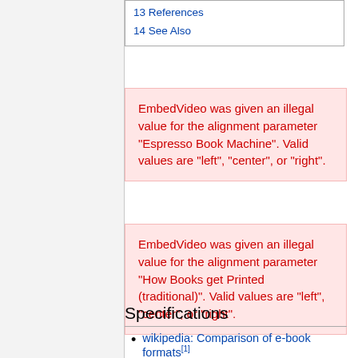13 References
14 See Also
EmbedVideo was given an illegal value for the alignment parameter "Espresso Book Machine". Valid values are "left", "center", or "right".
EmbedVideo was given an illegal value for the alignment parameter "How Books get Printed (traditional)". Valid values are "left", "center", or "right".
Specifications
wikipedia: Comparison of e-book formats[1]